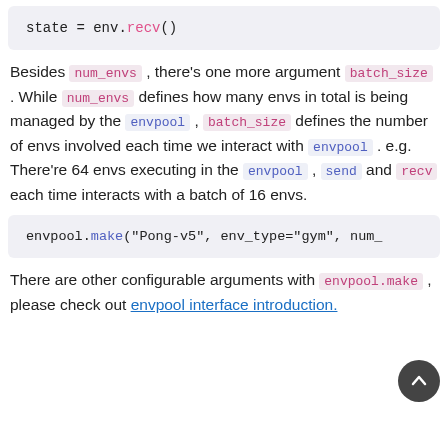[Figure (screenshot): Code block showing: state = env.recv()]
Besides num_envs , there's one more argument batch_size . While num_envs defines how many envs in total is being managed by the envpool , batch_size defines the number of envs involved each time we interact with envpool . e.g. There're 64 envs executing in the envpool , send and recv each time interacts with a batch of 16 envs.
[Figure (screenshot): Code block showing: envpool.make("Pong-v5", env_type="gym", num_]
There are other configurable arguments with envpool.make , please check out envpool interface introduction.